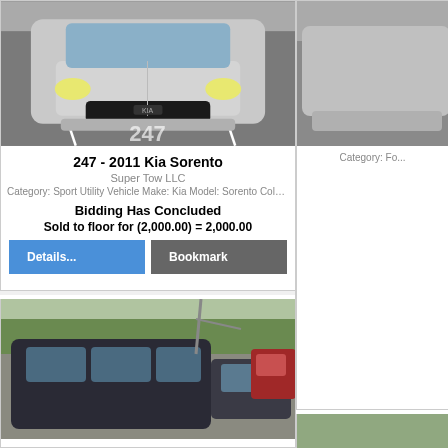[Figure (photo): Front view of a silver Kia Sorento SUV parked in a lot, lot number 247 visible on pavement]
247 - 2011 Kia Sorento
Super Tow LLC
Category: Sport Utility Vehicle Make: Kia Model: Sorento Color: Year: 2...
Bidding Has Concluded
Sold to floor for (2,000.00) = 2,000.00
Details...
Bookmark
[Figure (photo): Partial view of vehicles in a parking lot, second auction listing]
[Figure (photo): Partial right-column top image, cropped auction vehicle]
Category: Fo...
[Figure (photo): Partial right-column bottom image, cropped auction vehicle]